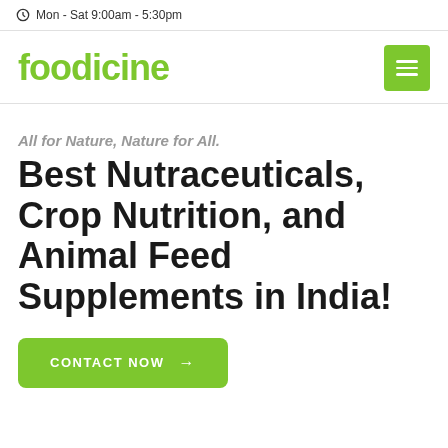Mon - Sat 9:00am - 5:30pm
[Figure (logo): Foodicine logo in green with hamburger menu button]
All for Nature, Nature for All.
Best Nutraceuticals, Crop Nutrition, and Animal Feed Supplements in India!
CONTACT NOW →